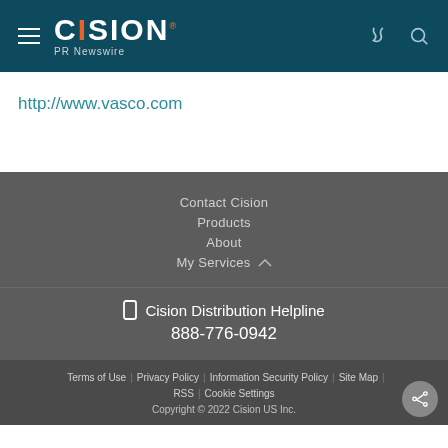CISION PR Newswire
http://www.vasco.com
Contact Cision
Products
About
My Services
Cision Distribution Helpline 888-776-0942
Terms of Use | Privacy Policy | Information Security Policy | Site Map | RSS | Cookie Settings
Copyright © 2022 Cision US Inc.